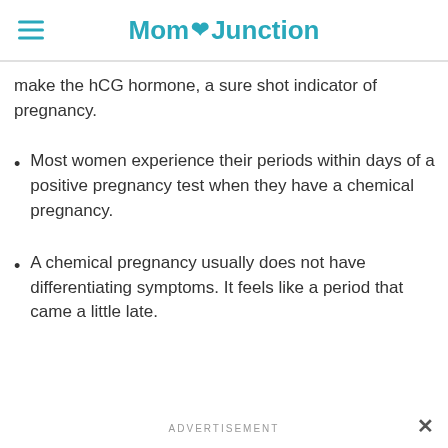MomJunction
make the hCG hormone, a sure shot indicator of pregnancy.
Most women experience their periods within days of a positive pregnancy test when they have a chemical pregnancy.
A chemical pregnancy usually does not have differentiating symptoms. It feels like a period that came a little late.
ADVERTISEMENT